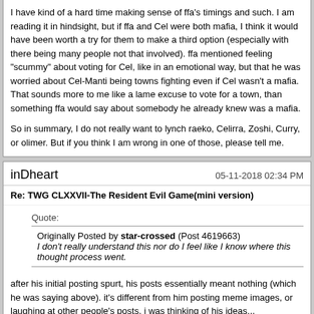I have kind of a hard time making sense of ffa's timings and such. I am reading it in hindsight, but if ffa and Cel were both mafia, I think it would have been worth a try for them to make a third option (especially with there being many people not that involved). ffa mentioned feeling "scummy" about voting for Cel, like in an emotional way, but that he was worried about Cel-Manti being towns fighting even if Cel wasn't a mafia. That sounds more to me like a lame excuse to vote for a town, than something ffa would say about somebody he already knew was a mafia.

So in summary, I do not really want to lynch raeko, Celirra, Zoshi, Curry, or olimer. But if you think I am wrong in one of those, please tell me.
inDheart
05-11-2018 02:34 PM
Re: TWG CLXXVII-The Resident Evil Game(mini version)
Quote:
Originally Posted by star-crossed (Post 4619663)
I don't really understand this nor do I feel like I know where this thought process went.
after his initial posting spurt, his posts essentially meant nothing (which he was saying above). it's different from him posting meme images, or laughing at other people's posts. i was thinking of his ideas...